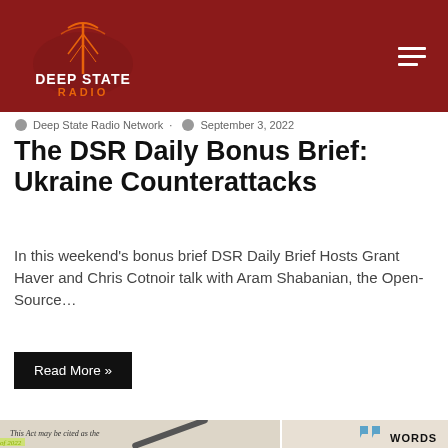Deep State Radio
Deep State Radio Network · September 3, 2022
The DSR Daily Bonus Brief: Ukraine Counterattacks
In this weekend's bonus brief DSR Daily Brief Hosts Grant Haver and Chris Cotnoir talk with Aram Shabanian, the Open-Source…
Read More »
[Figure (photo): Close-up photo of a legislative document with a pen, alongside a 'WORDS' logo with blue quotation mark icons]